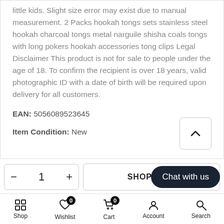little kids. Slight size error may exist due to manual measurement. 2 Packs hookah tongs sets stainless steel hookah charcoal tongs metal narguile shisha coals tongs with long pokers hookah accessories tong clips Legal Disclaimer This product is not for sale to people under the age of 18. To confirm the recipient is over 18 years, valid photographic ID with a date of birth will be required upon delivery for all customers.
EAN: 5056089523645
Item Condition: New